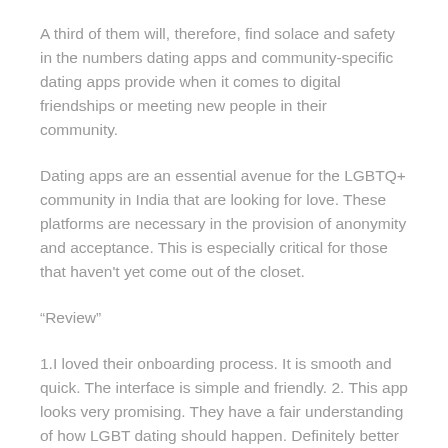A third of them will, therefore, find solace and safety in the numbers dating apps and community-specific dating apps provide when it comes to digital friendships or meeting new people in their community.
Dating apps are an essential avenue for the LGBTQ+ community in India that are looking for love. These platforms are necessary in the provision of anonymity and acceptance. This is especially critical for those that haven't yet come out of the closet.
“Review”
1.I loved their onboarding process. It is smooth and quick. The interface is simple and friendly. 2. This app looks very promising. They have a fair understanding of how LGBT dating should happen. Definitely better in terms of privacy when compared with other apps I had tried before this one. 3. I